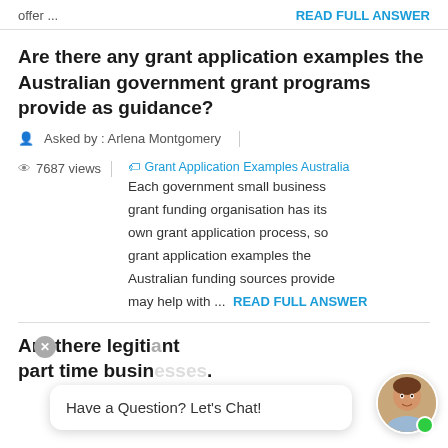offer ...   READ FULL ANSWER
Are there any grant application examples the Australian government grant programs provide as guidance?
Asked by : Arlena Montgomery
7687 views   Grant Application Examples Australia  Each government small business grant funding organisation has its own grant application process, so grant application examples the Australian funding sources provide may help with ...   READ FULL ANSWER
Are there legiti...nt part time busin...